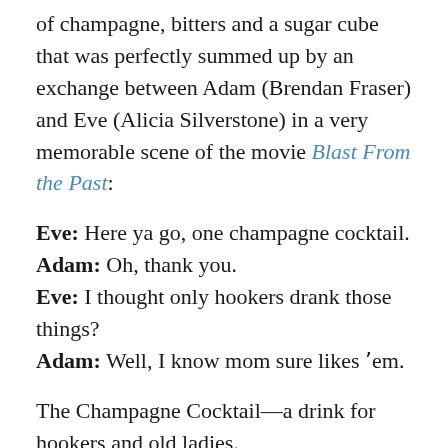of champagne, bitters and a sugar cube that was perfectly summed up by an exchange between Adam (Brendan Fraser) and Eve (Alicia Silverstone) in a very memorable scene of the movie Blast From the Past:
Eve: Here ya go, one champagne cocktail.
Adam: Oh, thank you.
Eve: I thought only hookers drank those things?
Adam: Well, I know mom sure likes 'em.
The Champagne Cocktail—a drink for hookers and old ladies.